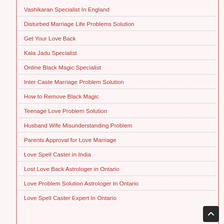Vashikaran Specialist In England
Disturbed Marriage Life Problems Solution
Get Your Love Back
Kala Jadu Specialist
Online Black Magic Specialist
Inter Caste Marriage Problem Solution
How to Remove Black Magic
Teenage Love Problem Solution
Husband Wife Misunderstanding Problem
Parents Approval for Love Marriage
Love Spell Caster in India
Lost Love Back Astrologer in Ontario
Love Problem Solution Astrologer In Ontario
Love Spell Caster Expert In Ontario